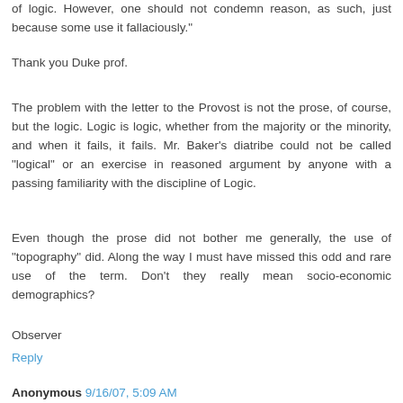of logic. However, one should not condemn reason, as such, just because some use it fallaciously."
Thank you Duke prof.
The problem with the letter to the Provost is not the prose, of course, but the logic. Logic is logic, whether from the majority or the minority, and when it fails, it fails. Mr. Baker's diatribe could not be called "logical" or an exercise in reasoned argument by anyone with a passing familiarity with the discipline of Logic.
Even though the prose did not bother me generally, the use of "topography" did. Along the way I must have missed this odd and rare use of the term. Don't they really mean socio-economic demographics?
Observer
Reply
Anonymous 9/16/07, 5:09 AM